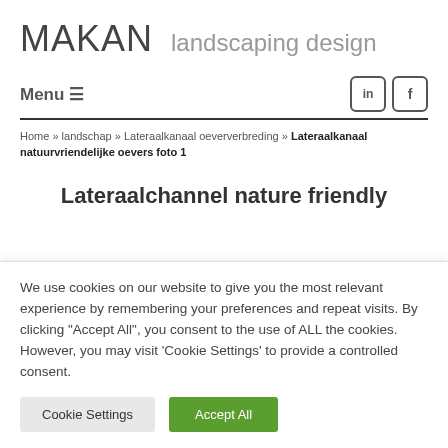MAKAN landscaping design
Menu ☰
Home » landschap » Lateraalkanaal oeververbreding » Lateraalkanaal natuurvriendelijke oevers foto 1
Lateraalchannel nature friendly
We use cookies on our website to give you the most relevant experience by remembering your preferences and repeat visits. By clicking "Accept All", you consent to the use of ALL the cookies. However, you may visit 'Cookie Settings' to provide a controlled consent.